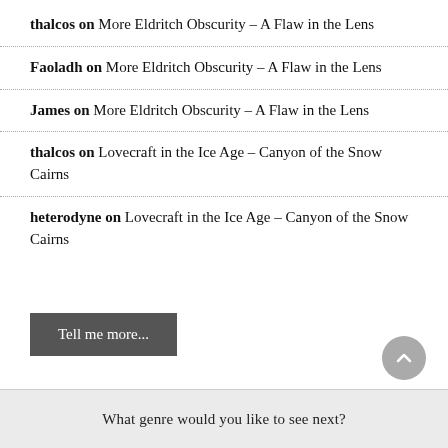thalcos on More Eldritch Obscurity – A Flaw in the Lens
Faoladh on More Eldritch Obscurity – A Flaw in the Lens
James on More Eldritch Obscurity – A Flaw in the Lens
thalcos on Lovecraft in the Ice Age – Canyon of the Snow Cairns
heterodyne on Lovecraft in the Ice Age – Canyon of the Snow Cairns
Tell me more...
What genre would you like to see next?